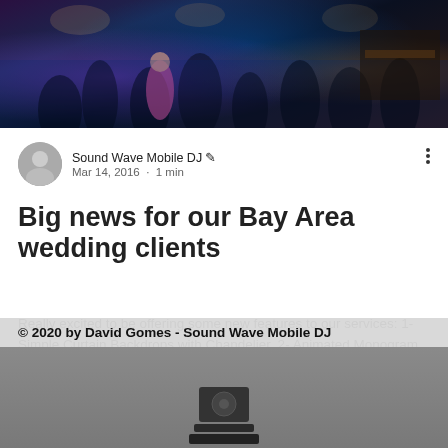[Figure (photo): Photo of people dancing at a wedding reception with blue and purple lighting]
Sound Wave Mobile DJ ✒ Mar 14, 2016 · 1 min
Big news for our Bay Area wedding clients
Really excited to be offering some new features to our services: 1- Simple Curtain Backdrops with Chandelier. 2- Animated Monogram (Yes this will be a hot cake this wedding season, ...
7   0
© 2020 by David Gomes - Sound Wave Mobile DJ